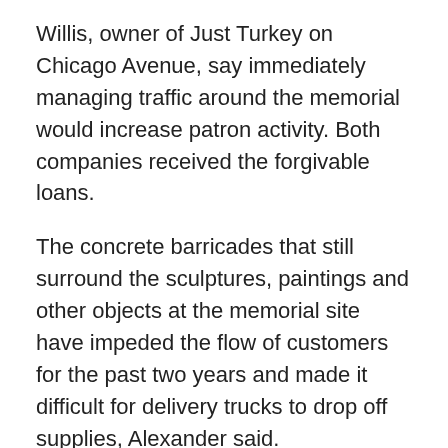Willis, owner of Just Turkey on Chicago Avenue, say immediately managing traffic around the memorial would increase patron activity. Both companies received the forgivable loans.
The concrete barricades that still surround the sculptures, paintings and other objects at the memorial site have impeded the flow of customers for the past two years and made it difficult for delivery trucks to drop off supplies, Alexander said.
The former Speedway gas station on 38th Street, emptied during the riots, is now covered in murals and has been renamed “People’s Way” by activists. According to city updates, officials spoke with the owner last year and are reconnecting with them this spring with the intention of evaluating options to eventually purchase the site.
Alexander respects the significance of the site, but wants